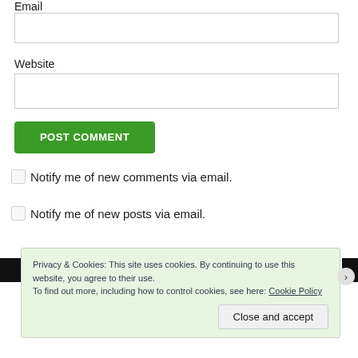Email
[Figure (other): Email text input field]
Website
[Figure (other): Website text input field]
POST COMMENT
Notify me of new comments via email.
Notify me of new posts via email.
Privacy & Cookies: This site uses cookies. By continuing to use this website, you agree to their use. To find out more, including how to control cookies, see here: Cookie Policy
Close and accept